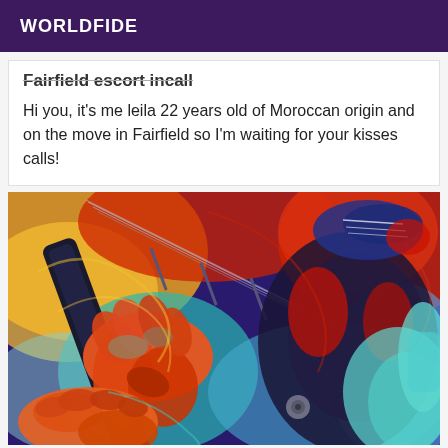WORLDFIDE
Fairfield escort incall
Hi you, it's me leila 22 years old of Moroccan origin and on the move in Fairfield so I'm waiting for your kisses calls!
[Figure (illustration): Colorful stylized digital illustration showing hands playing an electric guitar with vivid orange, red, blue, teal and yellow colors in an artistic painterly style.]